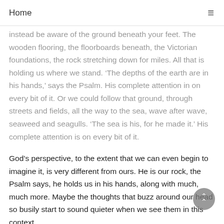Home
instead be aware of the ground beneath your feet. The wooden flooring, the floorboards beneath, the Victorian foundations, the rock stretching down for miles. All that is holding us where we stand. ‘The depths of the earth are in his hands,’ says the Psalm. His complete attention in on every bit of it. Or we could follow that ground, through streets and fields, all the way to the sea, wave after wave, seaweed and seagulls. ‘The sea is his, for he made it.’ His complete attention is on every bit of it.
God’s perspective, to the extent that we can even begin to imagine it, is very different from ours. He is our rock, the Psalm says, he holds us in his hands, along with much, much more. Maybe the thoughts that buzz around our head so busily start to sound quieter when we see them in this context.